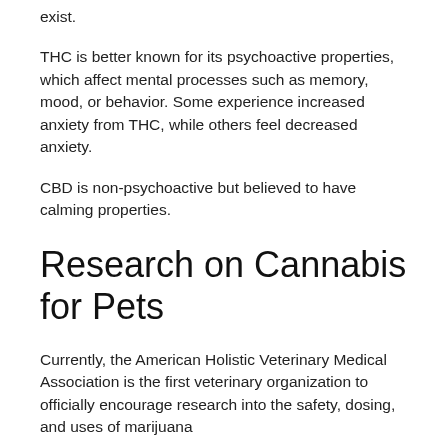exist.
THC is better known for its psychoactive properties, which affect mental processes such as memory, mood, or behavior. Some experience increased anxiety from THC, while others feel decreased anxiety.
CBD is non-psychoactive but believed to have calming properties.
Research on Cannabis for Pets
Currently, the American Holistic Veterinary Medical Association is the first veterinary organization to officially encourage research into the safety, dosing, and uses of marijuana